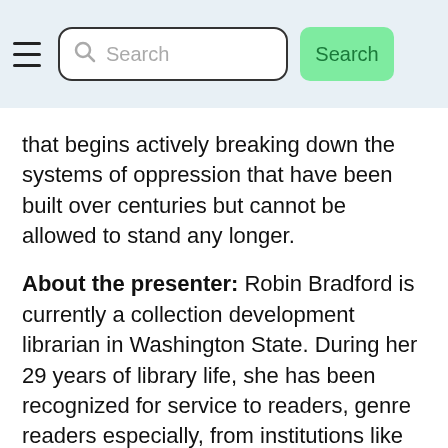Search
that begins actively breaking down the systems of oppression that have been built over centuries but cannot be allowed to stand any longer.
About the presenter: Robin Bradford is currently a collection development librarian in Washington State. During her 29 years of library life, she has been recognized for service to readers, genre readers especially, from institutions like Library Journal to RWA's Cathie Linz librarian of the Year in 2013. Robin is